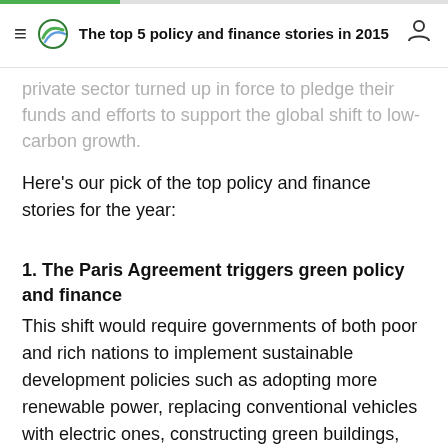The top 5 policy and finance stories in 2015
private sector turned up in force to pledge their funds and efforts to support the global shift to low-carbon growth.
Here's our pick of the top policy and finance stories for the year:
1. The Paris Agreement triggers green policy and finance
This shift would require governments of both poor and rich nations to implement sustainable development policies such as adopting more renewable power, replacing conventional vehicles with electric ones, constructing green buildings, conserving forests, using energy efficient technologies and developing new solutions, among others.
More money than ever before would have to be mobilised for such projects. In 2014, about US$391 billion was mobilised in both private sector and public